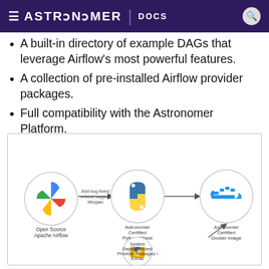≡ ASTRONOMER | DOCS
A built-in directory of example DAGs that leverage Airflow's most powerful features.
A collection of pre-installed Airflow provider packages.
Full compatibility with the Astronomer Platform.
[Figure (flowchart): Flowchart showing: Open Source Apache Airflow (pinwheel icon) → Add bug fixes/extend support lifespan → Astronomer Certified Python Wheel (Python logo) → Astronomer Certified Docker Image (Docker whale icon). Also: System Dependencies/Provider Packages/Extras (Python box icon) arrows up to Docker Image.]